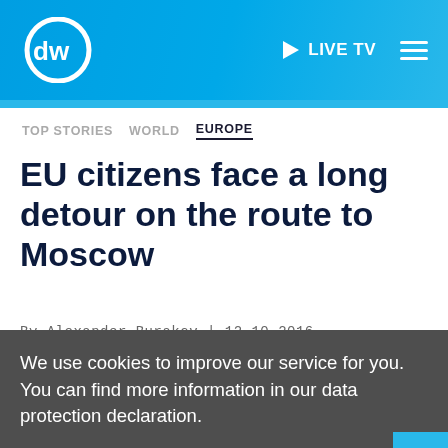DW — LIVE TV
TOP STORIES  WORLD  EUROPE
EU citizens face a long detour on the route to Moscow
By Alexander Burakov | 12.10.2016
[Figure (infographic): Social sharing icons row: Facebook, Twitter, Reddit, Email, Messenger, More, Share]
We use cookies to improve our service for you. You can find more information in our data protection declaration.